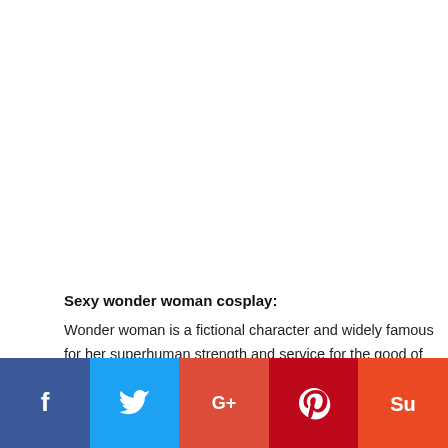[Figure (photo): Large image placeholder at the top of the page (white/blank area representing a wonder woman cosplay photo)]
Sexy wonder woman cosplay:
Wonder woman is a fictional character and widely famous for her superhuman strength and service for the good of people. And she also known as Diana Prince and you might have seen her supernatural sense and healing power. And what if you get a chance rm co have sexy w men
[Figure (infographic): Social media share bar at the bottom with Facebook, Twitter, Google+, Pinterest, and StumbleUpon buttons]